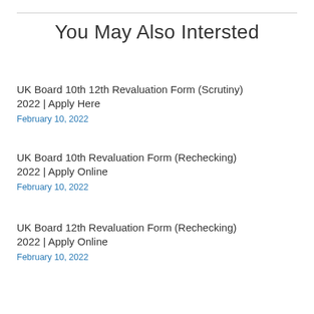You May Also Intersted
UK Board 10th 12th Revaluation Form (Scrutiny) 2022 | Apply Here
February 10, 2022
UK Board 10th Revaluation Form (Rechecking) 2022 | Apply Online
February 10, 2022
UK Board 12th Revaluation Form (Rechecking) 2022 | Apply Online
February 10, 2022